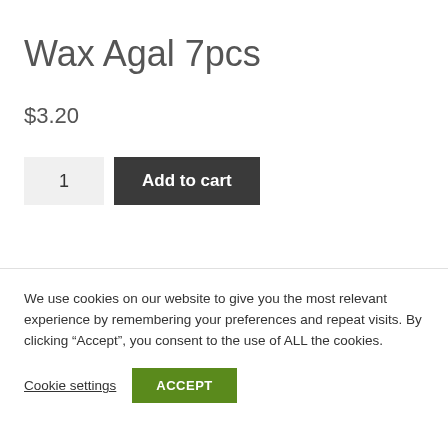Wax Agal 7pcs
$3.20
1
Add to cart
We use cookies on our website to give you the most relevant experience by remembering your preferences and repeat visits. By clicking “Accept”, you consent to the use of ALL the cookies.
Cookie settings
ACCEPT